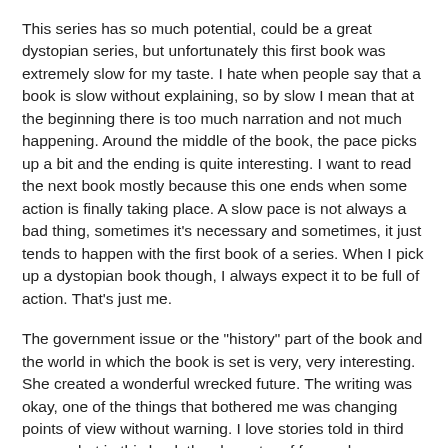This series has so much potential, could be a great dystopian series, but unfortunately this first book was extremely slow for my taste. I hate when people say that a book is slow without explaining, so by slow I mean that at the beginning there is too much narration and not much happening. Around the middle of the book, the pace picks up a bit and the ending is quite interesting. I want to read the next book mostly because this one ends when some action is finally taking place. A slow pace is not always a bad thing, sometimes it's necessary and sometimes, it just tends to happen with the first book of a series. When I pick up a dystopian book though, I always expect it to be full of action. That's just me.
The government issue or the "history" part of the book and the world in which the book is set is very, very interesting. She created a wonderful wrecked future. The writing was okay, one of the things that bothered me was changing points of view without warning. I love stories told in third person, but in this book the character of focus changes randomly. It was weird.